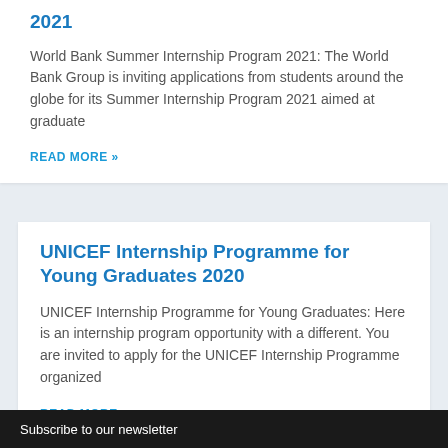World Bank Summer Internship Program 2021
World Bank Summer Internship Program 2021: The World Bank Group is inviting applications from students around the globe for its Summer Internship Program 2021 aimed at graduate
READ MORE »
UNICEF Internship Programme for Young Graduates 2020
UNICEF Internship Programme for Young Graduates: Here is an internship program opportunity with a different. You are invited to apply for the UNICEF Internship Programme organized
READ MORE »
Subscribe to our newsletter